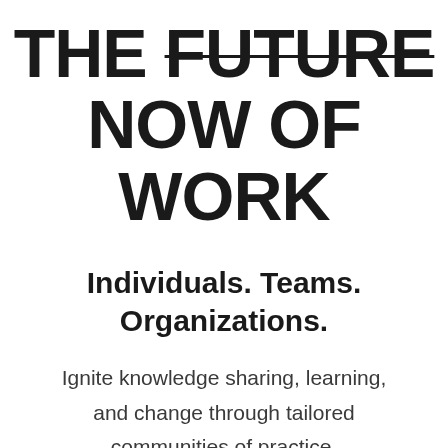THE FUTURE NOW OF WORK
Individuals. Teams. Organizations.
Ignite knowledge sharing, learning, and change through tailored communities of practice.